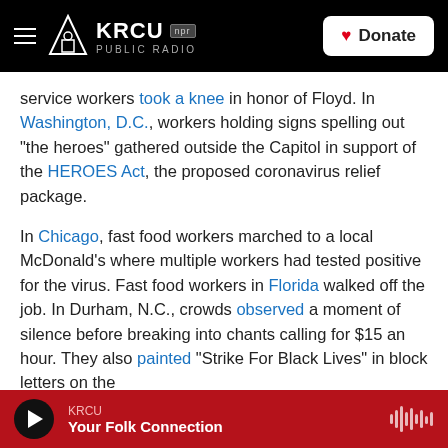KRCU NPR PUBLIC RADIO | Donate
service workers took a knee in honor of Floyd. In Washington, D.C., workers holding signs spelling out "the heroes" gathered outside the Capitol in support of the HEROES Act, the proposed coronavirus relief package.
In Chicago, fast food workers marched to a local McDonald's where multiple workers had tested positive for the virus. Fast food workers in Florida walked off the job. In Durham, N.C., crowds observed a moment of silence before breaking into chants calling for $15 an hour. They also painted "Strike For Black Lives" in block letters on the
KRCU / Your Folk Connection